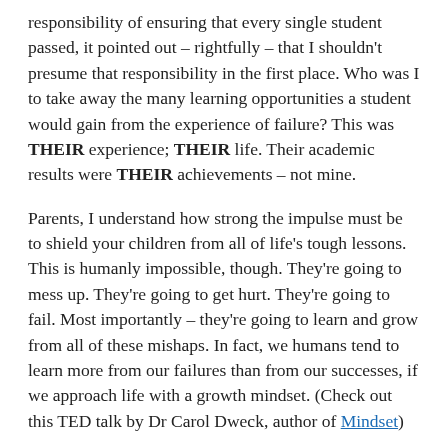responsibility of ensuring that every single student passed, it pointed out – rightfully – that I shouldn't presume that responsibility in the first place. Who was I to take away the many learning opportunities a student would gain from the experience of failure? This was THEIR experience; THEIR life. Their academic results were THEIR achievements – not mine.
Parents, I understand how strong the impulse must be to shield your children from all of life's tough lessons. This is humanly impossible, though. They're going to mess up. They're going to get hurt. They're going to fail. Most importantly – they're going to learn and grow from all of these mishaps. In fact, we humans tend to learn more from our failures than from our successes, if we approach life with a growth mindset. (Check out this TED talk by Dr Carol Dweck, author of Mindset)
On a scale of 1 to losing a child (heaven forbid), I reckon most parents will agree that repeating an academic year due to